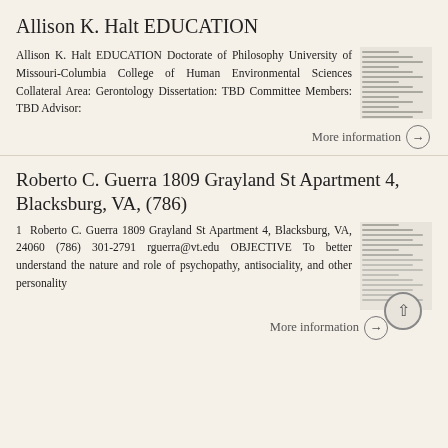Allison K. Halt EDUCATION
Allison K. Halt EDUCATION Doctorate of Philosophy University of Missouri-Columbia College of Human Environmental Sciences Collateral Area: Gerontology Dissertation: TBD Committee Members: TBD Advisor:
More information →
Roberto C. Guerra 1809 Grayland St Apartment 4, Blacksburg, VA, (786)
1 Roberto C. Guerra 1809 Grayland St Apartment 4, Blacksburg, VA, 24060 (786) 301-2791 rguerra@vt.edu OBJECTIVE To better understand the nature and role of psychopathy, antisociality, and other personality
More information →